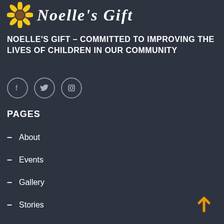[Figure (logo): Noelle's Gift logo with sunflower icon and cursive text]
NOELLE'S GIFT – COMMITTED TO IMPROVING THE LIVES OF CHILDREN IN OUR COMMUNITY
[Figure (infographic): Social media icons: Facebook, Twitter, Instagram in circular outlines]
PAGES
About
Events
Gallery
Stories
Blog
Contact